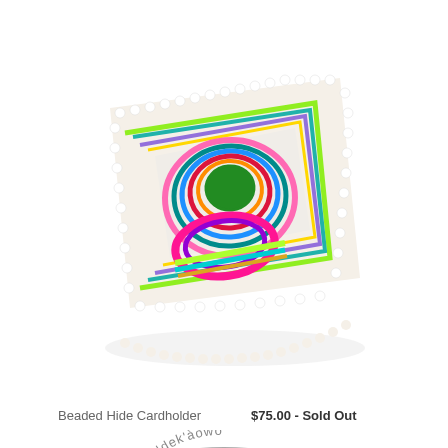[Figure (photo): A beaded hide cardholder photographed at an angle on a white background. The item features intricate colorful beadwork in patterns of blue, red, magenta, green, teal, and gold on a white background, with white bead fringe along the bottom edge.]
Beaded Hide Cardholder          $75.00 - Sold Out
[Figure (photo): Partially visible circular pin/badge with blue background showing a yellow moon/sun and white wave design. Text around the top reads 'Tłı̨chǫ Ndek'àowo'. A small gold star is visible on the right side.]